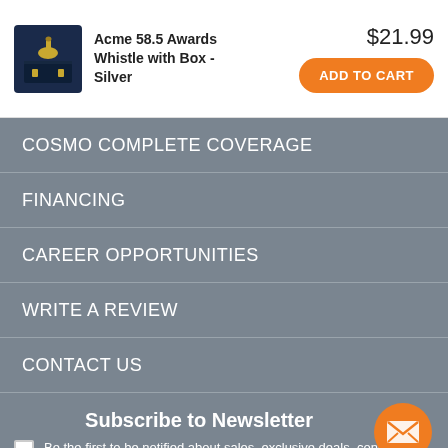[Figure (photo): Product image: Acme 58.5 Awards Whistle with Box - Silver in a dark gift box]
Acme 58.5 Awards Whistle with Box - Silver
$21.99
ADD TO CART
COSMO COMPLETE COVERAGE
FINANCING
CAREER OPPORTUNITIES
WRITE A REVIEW
CONTACT US
Subscribe to Newsletter
Be the first to be notified about sales, exclusive deals, contests